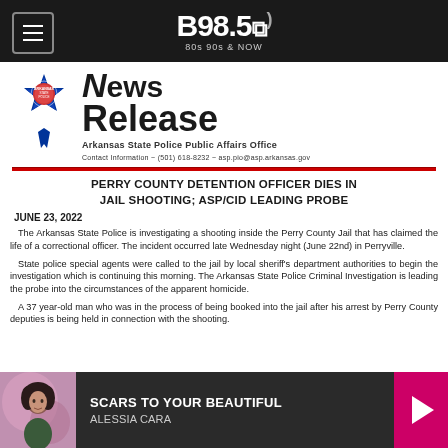B98.5 — 80s 90s & NOW
[Figure (logo): Arkansas State Police badge logo and News Release header graphic with ribbon]
Arkansas State Police Public Affairs Office
Contact Information ~ (501) 618-8232 ~ asp.pio@asp.arkansas.gov
PERRY COUNTY DETENTION OFFICER DIES IN JAIL SHOOTING; ASP/CID LEADING PROBE
JUNE 23, 2022
The Arkansas State Police is investigating a shooting inside the Perry County Jail that has claimed the life of a correctional officer. The incident occurred late Wednesday night (June 22nd) in Perryville.
State police special agents were called to the jail by local sheriff's department authorities to begin the investigation which is continuing this morning. The Arkansas State Police Criminal Investigation is leading the probe into the circumstances of the apparent homicide.
A 37 year-old man who was in the process of being booked into the jail after his arrest by Perry County deputies is being held in connection with the shooting.
SCARS TO YOUR BEAUTIFUL — ALESSIA CARA